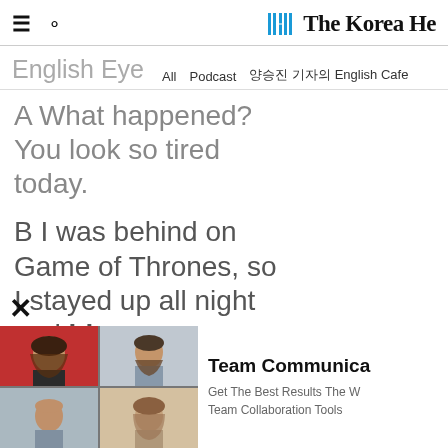The Korea He(rald)
English Eye  All  Podcast  양승진 기자의 English Cafe
A What happened? You look so tired today.
B I was behind on Game of Thrones, so I stayed up all night and binge
[Figure (photo): Four-panel video conference grid showing four people on a call]
Team Communica(tion) Get The Best Results The W(ay) Team Collaboration Tools